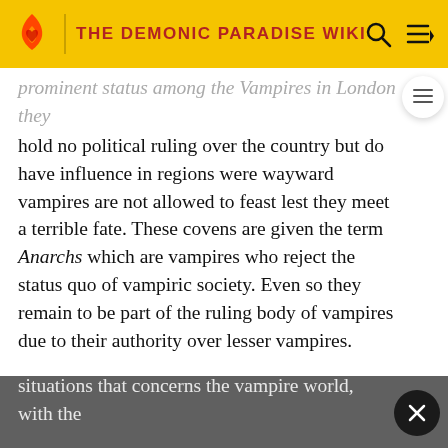THE DEMONIC PARADISE WIKI
prominent status among the Vampires in London they hold no political ruling over the country but do have influence in regions were wayward vampires are not allowed to feast lest they meet a terrible fate. These covens are given the term Anarchs which are vampires who reject the status quo of vampiric society. Even so they remain to be part of the ruling body of vampires due to their authority over lesser vampires.
While they are still globalized, most vampires are generally confined to one city (which is ruled in a feudal fashion). In addition, as covens from different countries or states do not cross paths very often, the leaders of the said covens meet with one another to discuss important situations that concerns the vampire world, with the